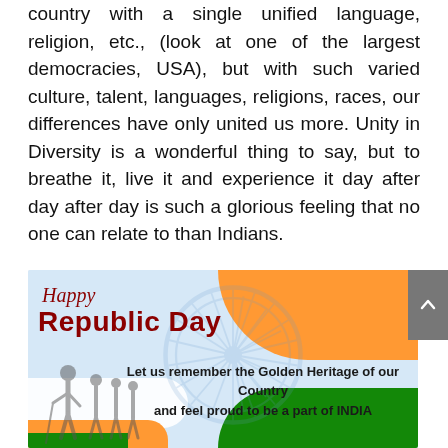country with a single unified language, religion, etc., (look at one of the largest democracies, USA), but with such varied culture, talent, languages, religions, races, our differences have only united us more. Unity in Diversity is a wonderful thing to say, but to breathe it, live it and experience it day after day after day is such a glorious feeling that no one can relate to than Indians.
[Figure (illustration): Happy Republic Day greeting card with Indian tricolor (orange, white, green) wave design, Ashoka Chakra watermark, silhouette of Gandhi and freedom fighters, text reading 'Happy Republic Day' and 'Let us remember the Golden Heritage of our Country and feel proud to be a part of INDIA']